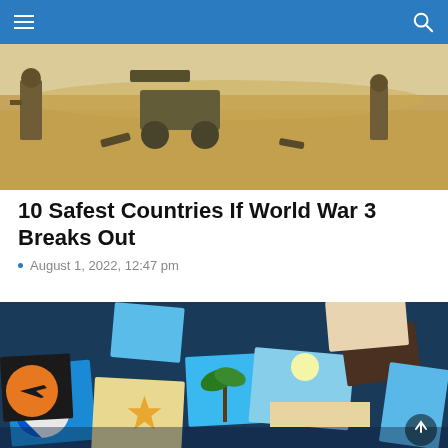Navigation bar with menu and search icons
[Figure (photo): Military soldiers in desert environment with artillery equipment on sandy terrain]
10 Safest Countries If World War 3 Breaks Out
August 1, 2022, 12:47 pm
[Figure (photo): Collage of travel vacation photos including beach scenes, palm trees, starfish, beach ball, airplane logo, and various summer holiday imagery]